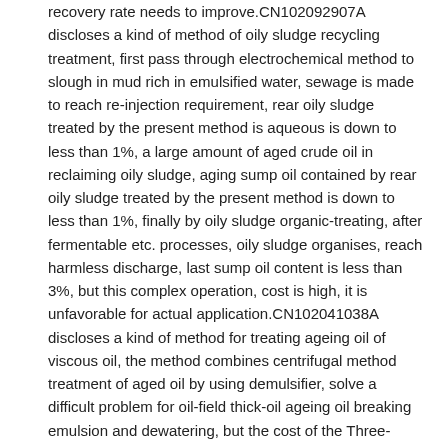recovery rate needs to improve.CN102092907A discloses a kind of method of oily sludge recycling treatment, first pass through electrochemical method to slough in mud rich in emulsified water, sewage is made to reach re-injection requirement, rear oily sludge treated by the present method is aqueous is down to less than 1%, a large amount of aged crude oil in reclaiming oily sludge, aging sump oil contained by rear oily sludge treated by the present method is down to less than 1%, finally by oily sludge organic-treating, after fermentable etc. processes, oily sludge organises, reach harmless discharge, last sump oil content is less than 3%, but this complex operation, cost is high, it is unfavorable for actual application.CN102041038A discloses a kind of method for treating ageing oil of viscous oil, the method combines centrifugal method treatment of aged oil by using demulsifier, solve a difficult problem for oil-field thick-oil ageing oil breaking emulsion and dewatering, but the cost of the Three-phase decanter centrifuge used in this invention is high, the treatment effect of the impurity light to foam geometric ratio water in sewage is poor, is unfavorable for the Treatment of Sludge that oil content is high.